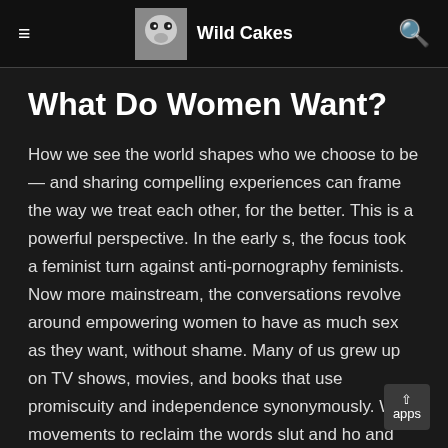Wild Cakes
What Do Women Want?
How we see the world shapes who we choose to be — and sharing compelling experiences can frame the way we treat each other, for the better. This is a powerful perspective. In the early s, the focus took a feminist turn against anti-pornography feminists. Now more mainstream, the conversations revolve around empowering women to have as much sex as they want, without shame. Many of us grew up on TV shows, movies, and books that use promiscuity and independence synonymously. With movements to reclaim the words slut and ho and the numerous dating apps that enable us to have casual encounters with ease, it would